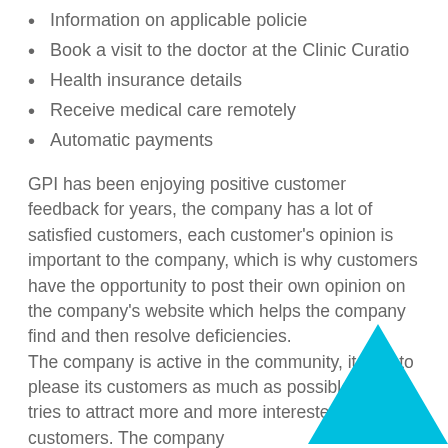Information on applicable policie
Book a visit to the doctor at the Clinic Curatio
Health insurance details
Receive medical care remotely
Automatic payments
GPI has been enjoying positive customer feedback for years, the company has a lot of satisfied customers, each customer's opinion is important to the company, which is why customers have the opportunity to post their own opinion on the company's website which helps the company find and then resolve deficiencies.
The company is active in the community, it tries to please its customers as much as possible and tries to attract more and more interested customers. The company
[Figure (illustration): Cyan/turquoise filled upward-pointing triangle in the bottom-right corner of the page]